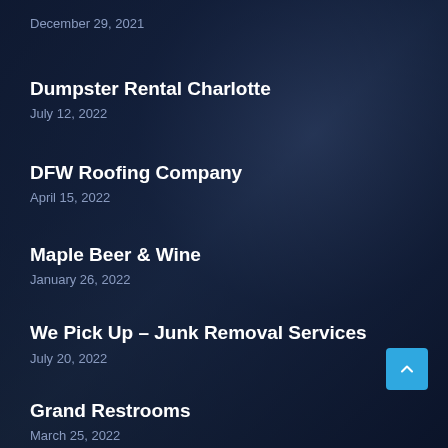December 29, 2021
Dumpster Rental Charlotte
July 12, 2022
DFW Roofing Company
April 15, 2022
Maple Beer & Wine
January 26, 2022
We Pick Up – Junk Removal Services
July 20, 2022
Grand Restrooms
March 25, 2022